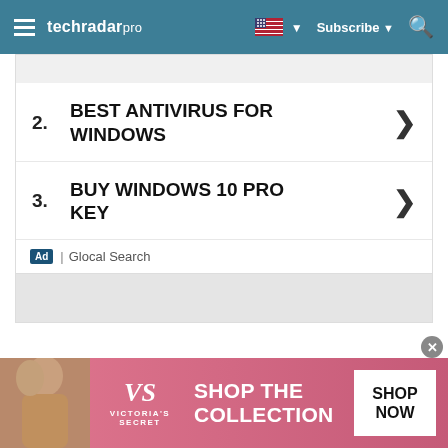techradar pro | Subscribe | Search
[Figure (screenshot): Advertisement block with two list items: 2. BEST ANTIVIRUS FOR WINDOWS and 3. BUY WINDOWS 10 PRO KEY, with chevron arrows. Footer shows Ad badge and Glocal Search label.]
The key word is 'should', since BlueStacks is free to download and still in beta, so it seems a little
[Figure (photo): Victoria's Secret advertisement banner showing model, VS logo, SHOP THE COLLECTION text, and SHOP NOW button.]